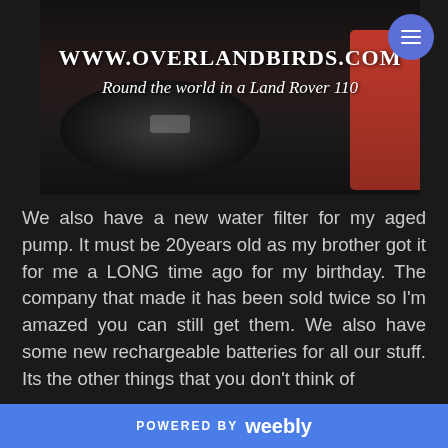[Figure (photo): Dark photograph showing car interior with a hand on steering wheel and a person in a red jacket on the right side. White text overlay reads WWW.OVERLANDBIRDS.COM and Round the world in a Land Rover 110.]
We also have a new water filter for my aged pump. It must be 20years old as my brother got it for me a LONG time ago for my birthday. The company that made it has been sold twice so I'm amazed you can still get them. We also have some new rechargeable batteries for all our stuff. Its the other things that you don't think of
POWERED BY weebly